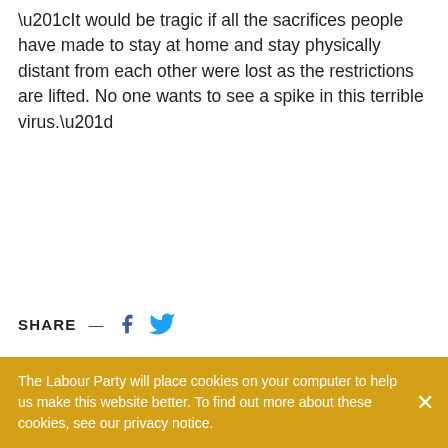“It would be tragic if all the sacrifices people have made to stay at home and stay physically distant from each other were lost as the restrictions are lifted. No one wants to see a spike in this terrible virus.”
SHARE — [Facebook] [Twitter]
The Labour Party will place cookies on your computer to help us make this website better. To find out more about these cookies, see our privacy notice.